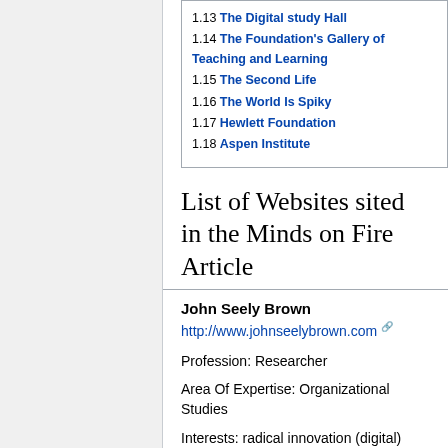1.13 The Digital study Hall
1.14 The Foundation's Gallery of Teaching and Learning
1.15 The Second Life
1.16 The World Is Spiky
1.17 Hewlett Foundation
1.18 Aspen Institute
List of Websites sited in the Minds on Fire Article
John Seely Brown
http://www.johnseelybrown.com
Profession: Researcher
Area Of Expertise: Organizational Studies
Interests: radical innovation (digital)